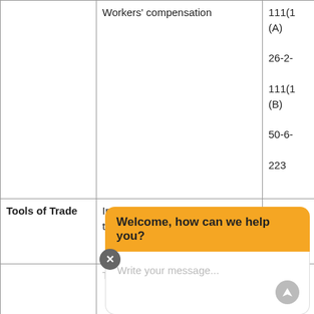| Category | Description | Code |
| --- | --- | --- |
|  | Workers' compensation | 111(1)(A)
26-2-
111(1)(B)
50-6-
223 |
| Tools of Trade | Implements, books & tools of trade to $1900 | 26-2-
111(4) |
|  | Tennessee | 110 |
[Figure (screenshot): Chat widget overlay showing 'Welcome, how can we help you?' header in orange/yellow with a white message input area and send button]